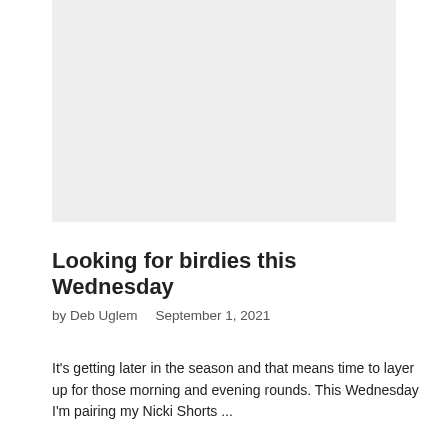[Figure (photo): Large rectangular image placeholder with light gray background, representing a photo at the top of the blog post.]
Looking for birdies this Wednesday
by Deb Uglem   September 1, 2021
It's getting later in the season and that means time to layer up for those morning and evening rounds. This Wednesday I'm pairing my Nicki Shorts ...